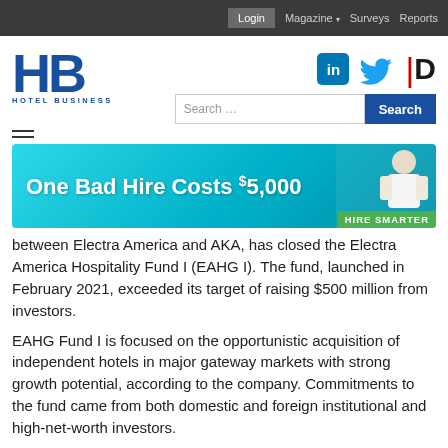Login  Magazine ▾  Surveys  Reports
[Figure (logo): HB Hotel Business logo in blue]
[Figure (infographic): Social media icons: LinkedIn, Twitter, and ID]
[Figure (screenshot): Search bar with Search button]
[Figure (infographic): Advertisement banner: One Bad Hire Costs $5,000 - Hire Smarter]
between Electra America and AKA, has closed the Electra America Hospitality Fund I (EAHG I). The fund, launched in February 2021, exceeded its target of raising $500 million from investors.
EAHG Fund I is focused on the opportunistic acquisition of independent hotels in major gateway markets with strong growth potential, according to the company. Commitments to the fund came from both domestic and foreign institutional and high-net-worth investors.